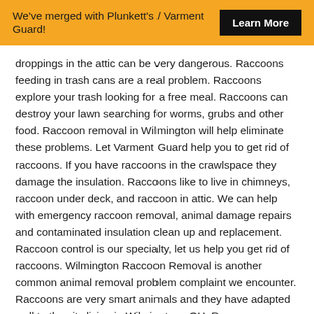We've merged with Plunkett's / Varment Guard! Learn More
droppings in the attic can be very dangerous. Raccoons feeding in trash cans are a real problem. Raccoons explore your trash looking for a free meal. Raccoons can destroy your lawn searching for worms, grubs and other food. Raccoon removal in Wilmington will help eliminate these problems. Let Varment Guard help you to get rid of raccoons. If you have raccoons in the crawlspace they damage the insulation. Raccoons like to live in chimneys, raccoon under deck, and raccoon in attic. We can help with emergency raccoon removal, animal damage repairs and contaminated insulation clean up and replacement. Raccoon control is our specialty, let us help you get rid of raccoons. Wilmington Raccoon Removal is another common animal removal problem complaint we encounter. Raccoons are very smart animals and they have adapted well to the city living in Wilmington , OH. Raccoon Removal in Wilmington is important to remove raccoons in the attic and raccoon in the chimney. Raccoon are the most destructive wild animal we deal with in Wilmington . Having